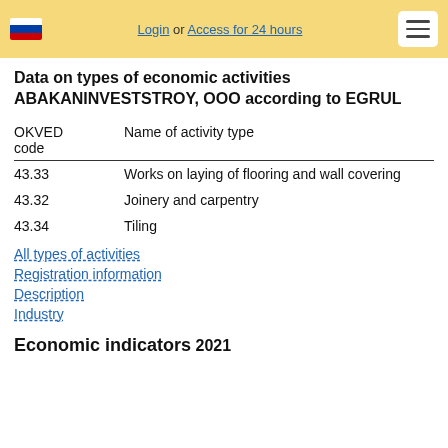Login or Access for 24 hours
Data on types of economic activities ABAKANINVESTSTROY, OOO according to EGRUL
| OKVED code | Name of activity type |
| --- | --- |
| 43.33 | Works on laying of flooring and wall covering |
| 43.32 | Joinery and carpentry |
| 43.34 | Tiling |
All types of activities
Registration information
Description
Industry
Economic indicators
2021